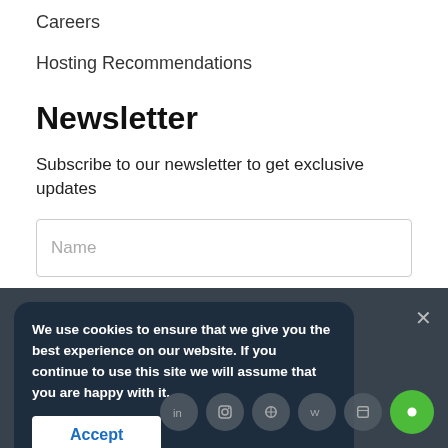Careers
Hosting Recommendations
Newsletter
Subscribe to our newsletter to get exclusive updates
Name
example@yourdomain.com
We use cookies to ensure that we give you the best experience on our website. If you continue to use this site we will assume that you are happy with it.
Accept